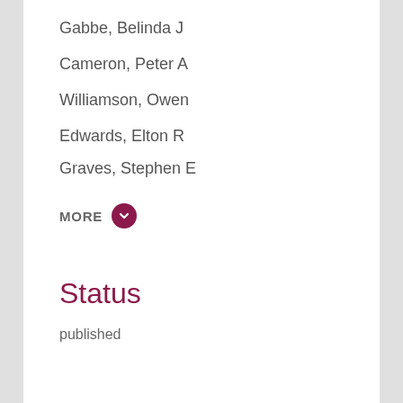Gabbe, Belinda J
Cameron, Peter A
Williamson, Owen
Edwards, Elton R
Graves, Stephen E
MORE
Status
published